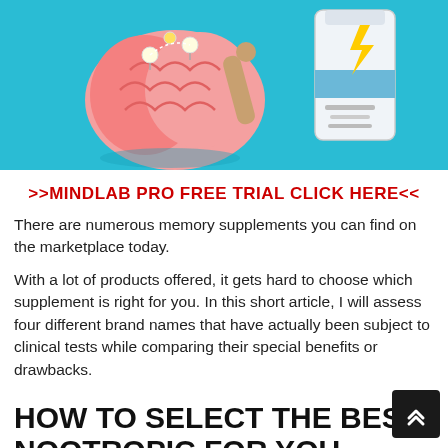[Figure (illustration): A teal/cyan background illustration showing a cartoon pink brain with lightbulbs and a hand touching it on the left, and a white supplement bottle with a lightning bolt label on the right.]
>>MINDLAB PRO FREE TRIAL CLICK HERE<<
There are numerous memory supplements you can find on the marketplace today.
With a lot of products offered, it gets hard to choose which supplement is right for you. In this short article, I will assess four different brand names that have actually been subject to clinical tests while comparing their special benefits or drawbacks.
HOW TO SELECT THE BEST NOOTROPIC FOR YOU
Everyone has various needs for the best possible